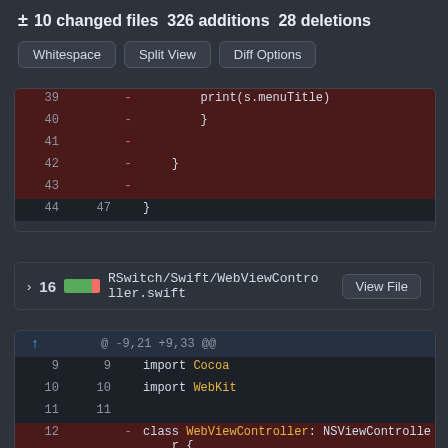± 10 changed files  326 additions  28 deletions
Whitespace | Split View | Diff Options
[Figure (screenshot): Git diff view showing deleted lines 39-43 with line numbers and minus markers on dark red background, plus unchanged line 44/47 with closing brace]
v 16  RSwitch/Swift/WebViewController.swift  View File
[Figure (screenshot): Git diff hunk showing @ -9,21 +9,33 @@ with lines 9-12: import Cocoa, import WebKit, blank line, then deleted class WebViewController: NSViewController { and added class WebViewController: NSViewControlle]